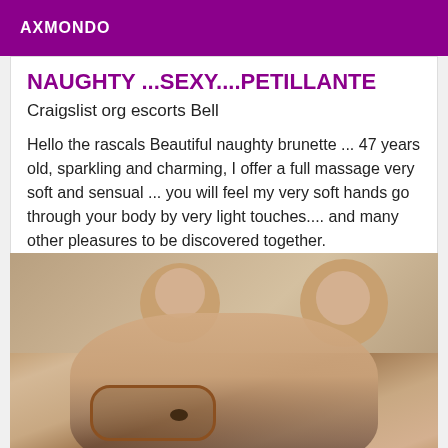AXMONDO
NAUGHTY ...SEXY....PETILLANTE
Craigslist org escorts Bell
Hello the rascals Beautiful naughty brunette ... 47 years old, sparkling and charming, I offer a full massage very soft and sensual ... you will feel my very soft hands go through your body by very light touches.... and many other pleasures to be discovered together.
[Figure (photo): Close-up photo of a woman wearing bear ear accessories and leopard print glasses, face partially shown from nose up]